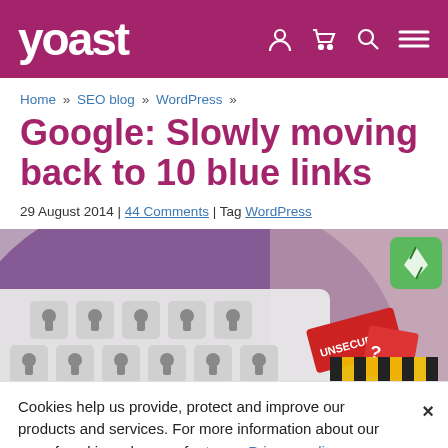yoast
Home » SEO blog » WordPress »
Google: Slowly moving back to 10 blue links
29 August 2014 | 44 Comments | Tag WordPress
[Figure (illustration): Decorative illustration showing a keyboard with keys, UNSECURE label, red tags, yellow/black hazard tape, and a green kite icon on purple/mauve background]
Cookies help us provide, protect and improve our products and services. For more information about our use of cookies, please refer to our Privacy policy.